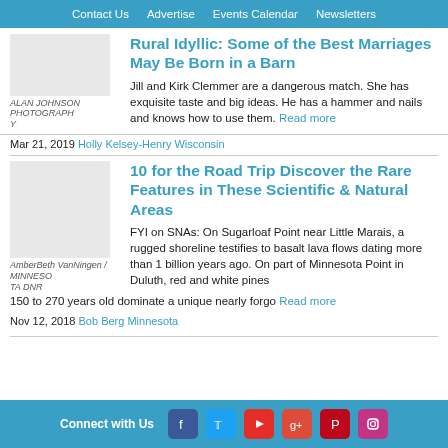Contact Us  Advertise  Events Calendar  Newsletters
Rural Idyllic: Some of the Best Marriages May Be Born in a Barn
Jill and Kirk Clemmer are a dangerous match. She has exquisite taste and big ideas. He has a hammer and nails and knows how to use them. Read more
ALAN JOHNSON PHOTOGRAPHY
Mar 21, 2019 Holly Kelsey-Henry Wisconsin
10 for the Road Trip Discover the Rare Features in These Scientific & Natural Areas
FYI on SNAs: On Sugarloaf Point near Little Marais, a rugged shoreline testifies to basalt lava flows dating more than 1 billion years ago. On part of Minnesota Point in Duluth, red and white pines 150 to 270 years old dominate a unique nearly forgo Read more
AmberBeth VanNingen / MINNESOTA DNR
Nov 12, 2018 Bob Berg Minnesota
Connect with Us